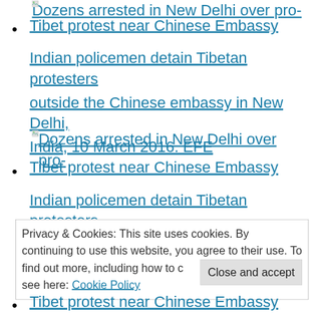Dozens arrested in New Delhi over pro-Tibet protest near Chinese Embassy
Dozens arrested in New Delhi over pro-Tibet protest near Chinese Embassy
Indian policemen detain Tibetan protesters outside the Chinese embassy in New Delhi, India, 10 March 2016. EFE
Dozens arrested in New Delhi over pro-Tibet protest near Chinese Embassy
Indian policemen detain Tibetan protesters
Privacy & Cookies: This site uses cookies. By continuing to use this website, you agree to their use. To find out more, including how to control cookies, see here: Cookie Policy
Tibet protest near Chinese Embassy